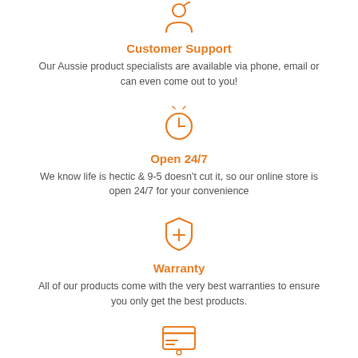[Figure (illustration): Orange person/user silhouette icon at top]
Customer Support
Our Aussie product specialists are available via phone, email or can even come out to you!
[Figure (illustration): Orange clock icon]
Open 24/7
We know life is hectic & 9-5 doesn't cut it, so our online store is open 24/7 for your convenience
[Figure (illustration): Orange shield with plus sign icon]
Warranty
All of our products come with the very best warranties to ensure you only get the best products.
[Figure (illustration): Orange card/payment icon partially visible at bottom]